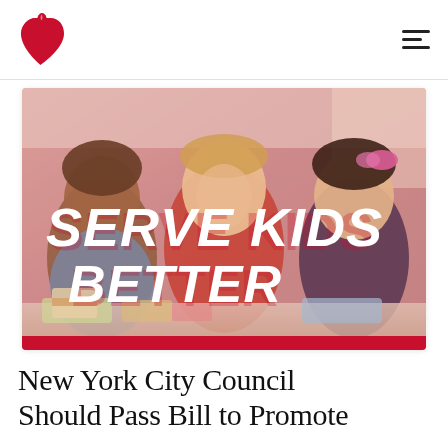American Heart Association
[Figure (photo): Three children sitting at a table with lunch boxes and food. Bold white brush-script text overlay reads 'SERVE KIDS BETTER'. A red bar runs along the bottom of the image.]
New York City Council Should Pass Bill to Promote